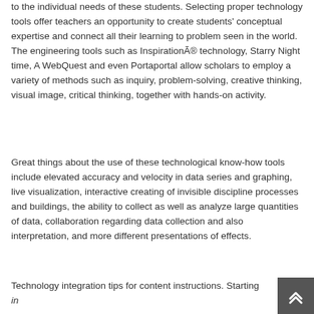to the individual needs of these students. Selecting proper technology tools offer teachers an opportunity to create students' conceptual expertise and connect all their learning to problem seen in the world. The engineering tools such as Inspiration® technology, Starry Night time, A WebQuest and even Portaportal allow scholars to employ a variety of methods such as inquiry, problem-solving, creative thinking, visual image, critical thinking, together with hands-on activity.
Great things about the use of these technological know-how tools include elevated accuracy and velocity in data series and graphing, live visualization, interactive creating of invisible discipline processes and buildings, the ability to collect as well as analyze large quantities of data, collaboration regarding data collection and also interpretation, and more different presentations of effects.
Technology integration tips for content instructions. Starting in